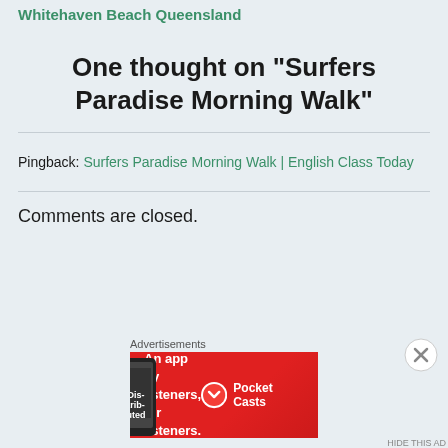Whitehaven Beach Queensland
One thought on “Surfers Paradise Morning Walk”
Pingback: Surfers Paradise Morning Walk | English Class Today
Comments are closed.
[Figure (screenshot): Red advertisement banner for Pocket Casts app with text 'An app by listeners, for listeners.' and Pocket Casts logo]